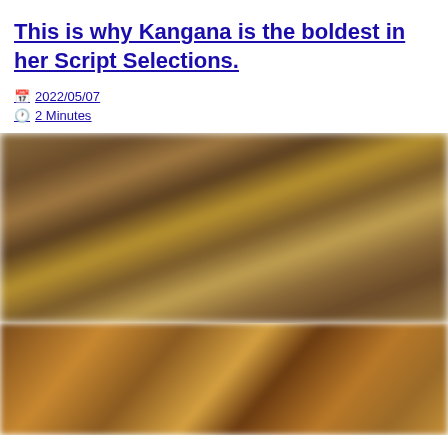This is why Kangana is the boldest in her Script Selections.
2022/05/07
2 Minutes
[Figure (photo): Blurry brownish warm-toned film still, first image]
[Figure (photo): Blurry gold and brown toned film still, second image cropped at bottom]